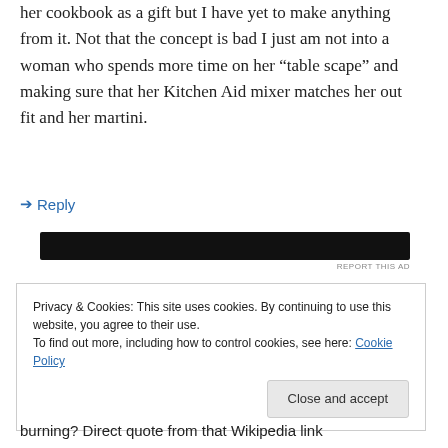her cookbook as a gift but I have yet to make anything from it. Not that the concept is bad I just am not into a woman who spends more time on her “table scape” and making sure that her Kitchen Aid mixer matches her out fit and her martini.
➤ Reply
[Figure (other): Dark advertisement banner image]
REPORT THIS AD
Privacy & Cookies: This site uses cookies. By continuing to use this website, you agree to their use.
To find out more, including how to control cookies, see here: Cookie Policy
[Close and accept button]
burning? Direct quote from that Wikipedia link